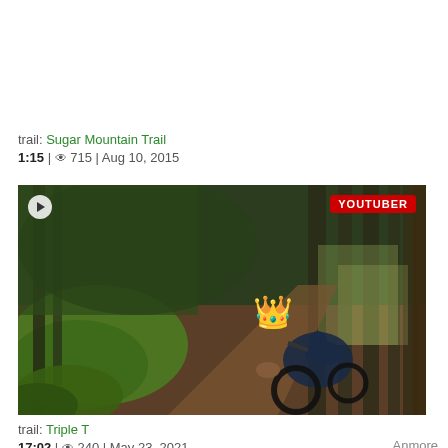trail: Sugar Mountain Trail
1:15 | 👁 715 | Aug 10, 2015
[Figure (screenshot): Mountain bike trail video thumbnail showing a rider on a forest dirt trail with a crown emoji overlay, YOUTUBER badge in top right, play button in top left]
trail: Triple T
17:02 | 👁 240 | May 23, 2021    , Anmore
[Figure (screenshot): Small play button circle for a second video]